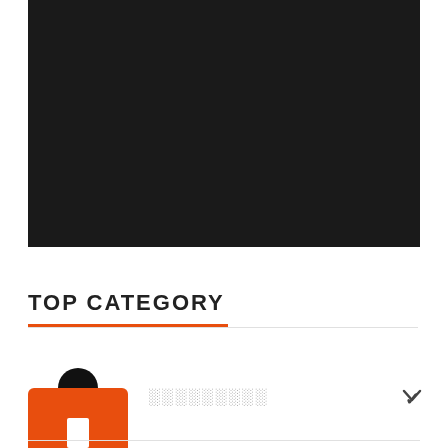[Figure (photo): Dark/black rectangular image occupying the top portion of the page]
TOP CATEGORY
[Figure (other): Orange icon with black circle on top and a white rectangle symbol inside, resembling a scale/weighing category icon]
░░░░░░░░░
[Figure (other): Two white rectangular card boxes at the bottom, partially visible]